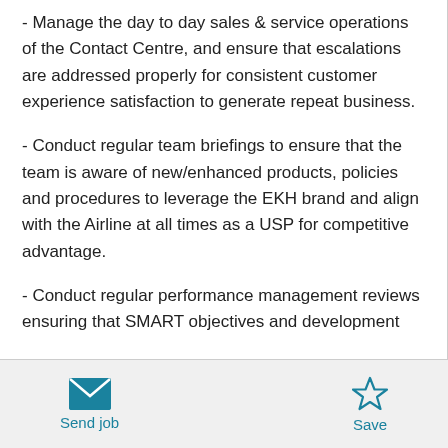- Manage the day to day sales & service operations of the Contact Centre, and ensure that escalations are addressed properly for consistent customer experience satisfaction to generate repeat business.
- Conduct regular team briefings to ensure that the team is aware of new/enhanced products, policies and procedures to leverage the EKH brand and align with the Airline at all times as a USP for competitive advantage.
- Conduct regular performance management reviews ensuring that SMART objectives and development
[Figure (other): Send job button with envelope icon and Save button with star icon in footer bar]